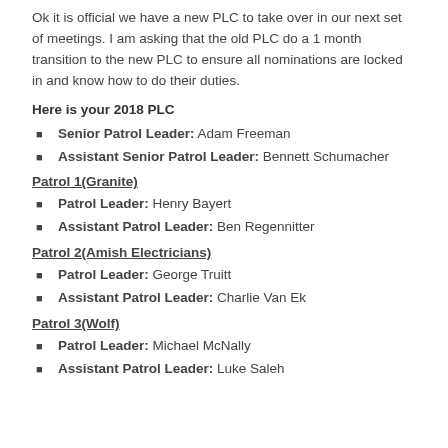Ok it is official we have a new PLC to take over in our next set of meetings. I am asking that the old PLC do a 1 month transition to the new PLC to ensure all nominations are locked in and know how to do their duties.
Here is your 2018 PLC
Senior Patrol Leader: Adam Freeman
Assistant Senior Patrol Leader: Bennett Schumacher
Patrol 1(Granite)
Patrol Leader: Henry Bayert
Assistant Patrol Leader: Ben Regennitter
Patrol 2(Amish Electricians)
Patrol Leader: George Truitt
Assistant Patrol Leader: Charlie Van Ek
Patrol 3(Wolf)
Patrol Leader: Michael McNally
Assistant Patrol Leader: Luke Saleh